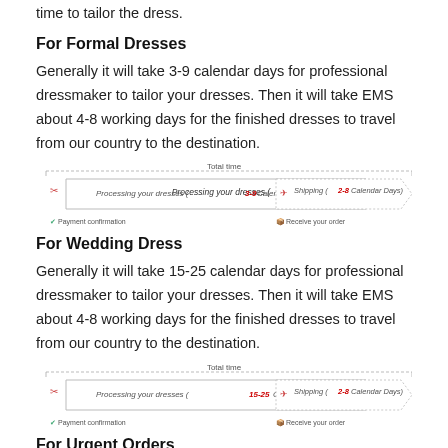time to tailor the dress.
For Formal Dresses
Generally it will take 3-9 calendar days for professional dressmaker to tailor your dresses. Then it will take EMS about 4-8 working days for the finished dresses to travel from our country to the destination.
[Figure (infographic): Timeline diagram showing: Processing your dresses (3-9 Calendar Days) arrow then Shipping (2-8 Calendar Days) arrow, under a 'Total time' dashed bracket. Below: Payment confirmation and Receive your order labels.]
For Wedding Dress
Generally it will take 15-25 calendar days for professional dressmaker to tailor your dresses. Then it will take EMS about 4-8 working days for the finished dresses to travel from our country to the destination.
[Figure (infographic): Timeline diagram showing: Processing your dresses (15-25 Calendar Days) arrow then Shipping (2-8 Calendar Days) arrow, under a 'Total time' dashed bracket. Below: Payment confirmation and Receive your order labels.]
For Urgent Orders
If you don't have special requirement for the shipping motheds, we usually ship them out by Standard Shipping. Generally speaking, it will take Standard Shipping about 4-8 working days to ship out the items. But if you need your items